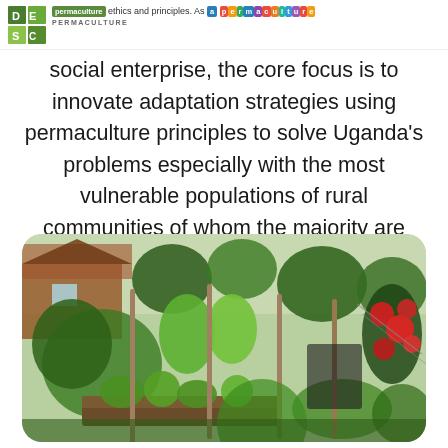permaculture ethics and principles. As a permaculture social enterprise, the core focus is to innovate adaptation strategies using permaculture principles to solve Uganda's problems especially with the most vulnerable populations of rural communities of whom the majority are farmers.
social enterprise, the core focus is to innovate adaptation strategies using permaculture principles to solve Uganda's problems especially with the most vulnerable populations of rural communities of whom the majority are farmers.
[Figure (photo): A lush permaculture garden with tall wooden stakes supporting plants, raised garden beds with green vegetables, fruit trees in the background, red flowering plants on the right, and a house/shed visible in the upper left background.]